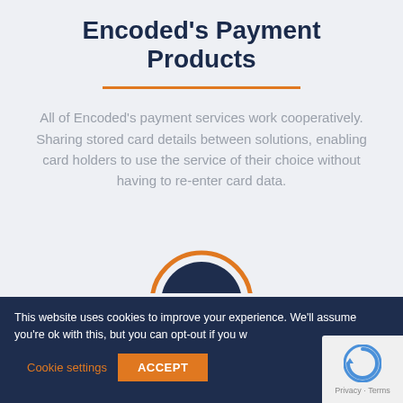Encoded's Payment Products
All of Encoded's payment services work cooperatively. Sharing stored card details between solutions, enabling card holders to use the service of their choice without having to re-enter card data.
This website uses cookies to improve your experience. We'll assume you're ok with this, but you can opt-out if you w
Cookie settings   ACCEPT